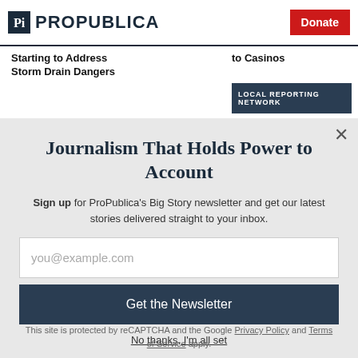ProPublica | Donate
Starting to Address Storm Drain Dangers
to Casinos
[Figure (screenshot): LOCAL REPORTING NETWORK banner button]
Journalism That Holds Power to Account
Sign up for ProPublica's Big Story newsletter and get our latest stories delivered straight to your inbox.
you@example.com
Get the Newsletter
No thanks, I'm all set
This site is protected by reCAPTCHA and the Google Privacy Policy and Terms of Service apply.